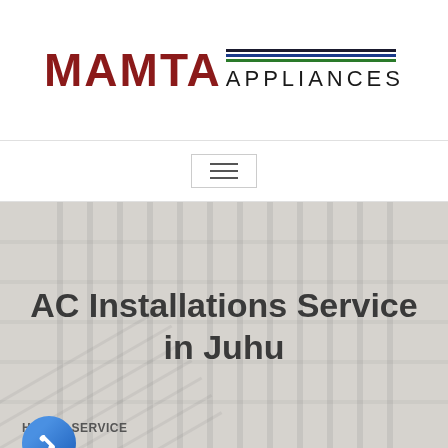[Figure (logo): Mamta Appliances logo with red bold MAMTA text and decorative horizontal lines above APPLIANCES text]
[Figure (other): Navigation hamburger menu button with three horizontal lines inside a bordered box]
AC Installations Service in Juhu
HOME / SERVICE
[Figure (other): Blue circular phone call button icon]
[Figure (other): Green circular WhatsApp icon button]
[Figure (other): Dark red square scroll-to-top button in bottom right corner]